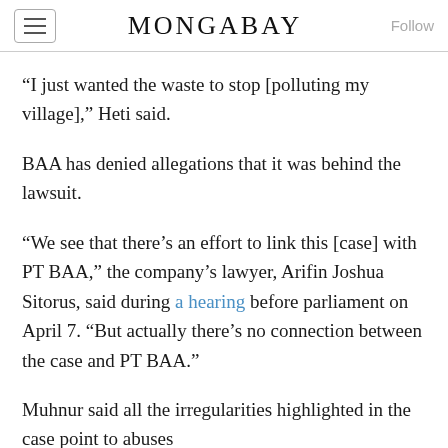MONGABAY
“I just wanted the waste to stop [polluting my village],” Heti said.
BAA has denied allegations that it was behind the lawsuit.
“We see that there’s an effort to link this [case] with PT BAA,” the company’s lawyer, Arifin Joshua Sitorus, said during a hearing before parliament on April 7. “But actually there’s no connection between the case and PT BAA.”
Muhnur said all the irregularities highlighted in the case point to abuses